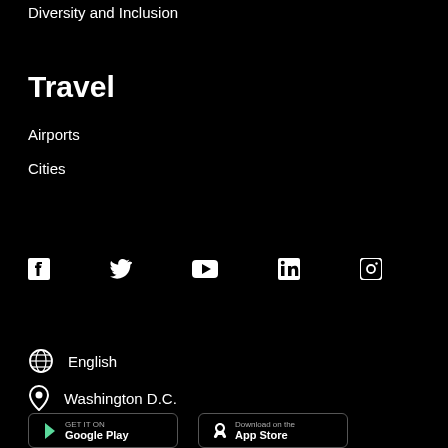Diversity and Inclusion
Travel
Airports
Cities
[Figure (infographic): Row of social media icons: Facebook, Twitter, YouTube, LinkedIn, Instagram]
English
Washington D.C.
[Figure (infographic): Two app store buttons: GET IT ON (Google Play) and Download on the (App Store)]